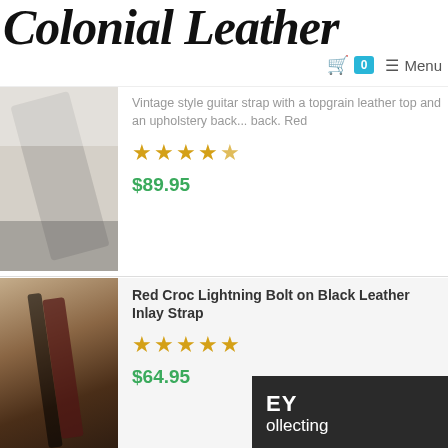Colonial Leather
Vintage style guitar strap with a topgrain leather top and an upholstery backing back. Red...
★★★★★
$89.95
Red Croc Lightning Bolt on Black Leather Inlay Strap
★★★★★
$64.95
By continuing to use this website, you consent to the use of cookies in accordance with our Cookie Policy.
ACCEPT
EY
ollecting